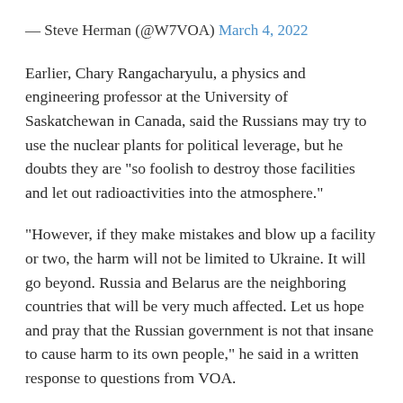— Steve Herman (@W7VOA) March 4, 2022
Earlier, Chary Rangacharyulu, a physics and engineering professor at the University of Saskatchewan in Canada, said the Russians may try to use the nuclear plants for political leverage, but he doubts they are "so foolish to destroy those facilities and let out radioactivities into the atmosphere."
"However, if they make mistakes and blow up a facility or two, the harm will not be limited to Ukraine. It will go beyond. Russia and Belarus are the neighboring countries that will be very much affected. Let us hope and pray that the Russian government is not that insane to cause harm to its own people," he said in a written response to questions from VOA.